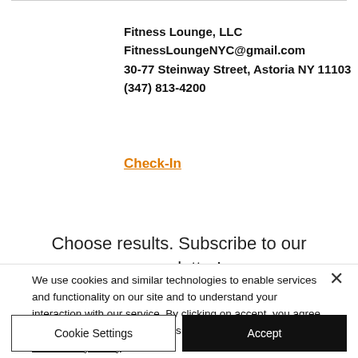Fitness Lounge, LLC
FitnessLoungeNYC@gmail.com
30-77 Steinway Street, Astoria NY 11103
(347) 813-4200
Check-In
Choose results. Subscribe to our newsletter!
We use cookies and similar technologies to enable services and functionality on our site and to understand your interaction with our service. By clicking on accept, you agree to our use of such technologies for marketing and analytics. See Privacy Policy